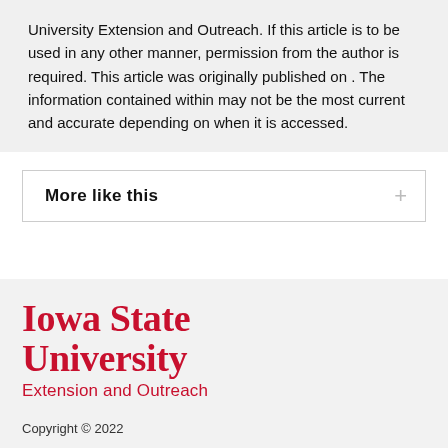University Extension and Outreach. If this article is to be used in any other manner, permission from the author is required. This article was originally published on . The information contained within may not be the most current and accurate depending on when it is accessed.
More like this
[Figure (logo): Iowa State University Extension and Outreach logo in red serif/sans-serif text]
Copyright © 2022